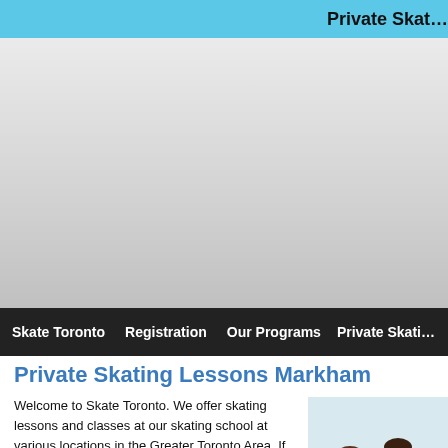Private Skat…
[Figure (screenshot): Gray banner/logo area of a skating school website]
Skate Toronto   Registration   Our Programs   Private Skati…
Private Skating Lessons Markham
Welcome to Skate Toronto. We offer skating lessons and classes at our skating school at various locations in the Greater Toronto Area. If you are interested in seeing what skating lessons programs are available in your area please visit our registration page. Our skating lesson programs are offered at various locations in Toronto seasonally in the fall, winter and summer. Locations include North York, Scarborough and Etobicoke and at various locations in the Greater Toronto Area such as Mississauga, Thornhill and Markham.
[Figure (photo): Children skating on an ice rink, wearing winter clothes and skating gear]